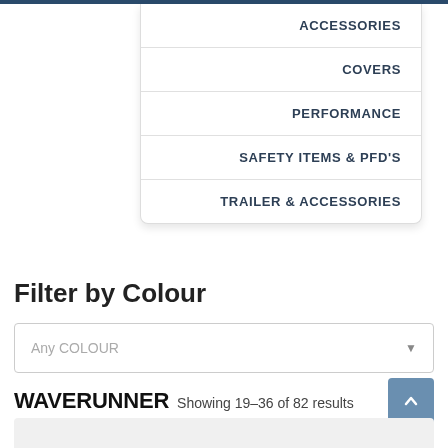ACCESSORIES
COVERS
PERFORMANCE
SAFETY ITEMS & PFD'S
TRAILER & ACCESSORIES
Filter by Colour
Any COLOUR
WAVERUNNER Showing 19–36 of 82 results